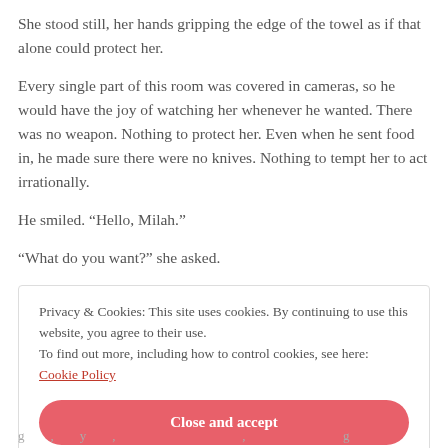She stood still, her hands gripping the edge of the towel as if that alone could protect her.
Every single part of this room was covered in cameras, so he would have the joy of watching her whenever he wanted. There was no weapon. Nothing to protect her. Even when he sent food in, he made sure there were no knives. Nothing to tempt her to act irrationally.
He smiled. “Hello, Milah.”
“What do you want?” she asked.
Privacy & Cookies: This site uses cookies. By continuing to use this website, you agree to their use.
To find out more, including how to control cookies, see here: Cookie Policy
Close and accept
g , y , g